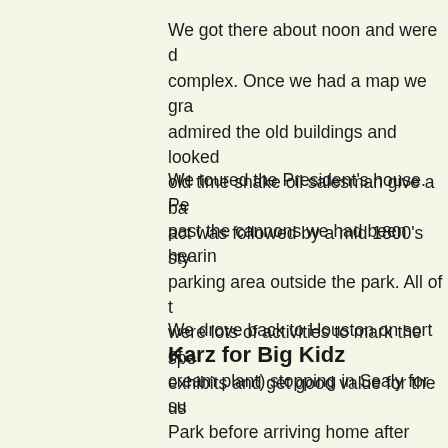We got there about noon and were d… complex. Once we had a map we gra… admired the old buildings and looked… old time snake oil salesman give a ba… act was followed by a mid 1800's sty…
We toured the President's house. Pe… past the cannons we had been hearin… parking area outside the park. All of t… were lots of activities to mark the spe… exhibits and get good value for the us…
We drove back to Houston on sort of… cream plant) stopping in Sealy for su… Park before arriving home after dark.
Karz for Big Kidz